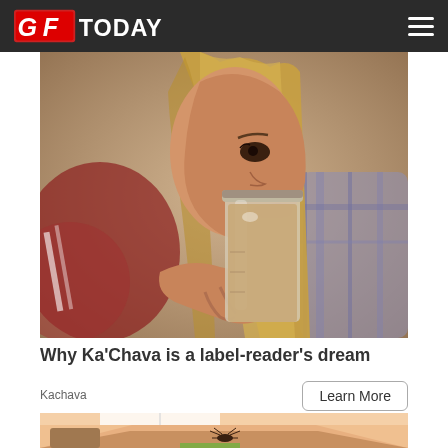GFToday
[Figure (photo): Woman with long blonde hair drinking a shake/smoothie from a glass mason jar. Background is blurred indoor setting with red/maroon cushions and plaid fabric.]
Why Ka'Chava is a label-reader's dream
Kachava
Learn More
[Figure (illustration): Illustrated scene showing a top-down view of a room interior, partially visible at the bottom of the page.]